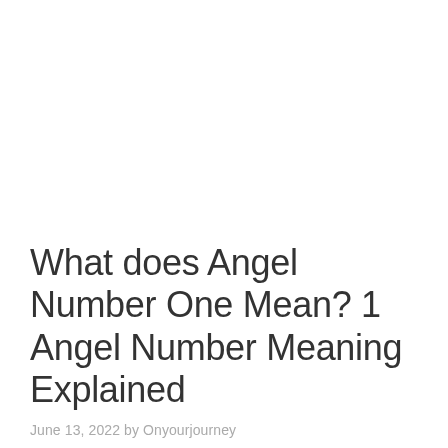What does Angel Number One Mean? 1 Angel Number Meaning Explained
June 13, 2022 by Onyourjourney